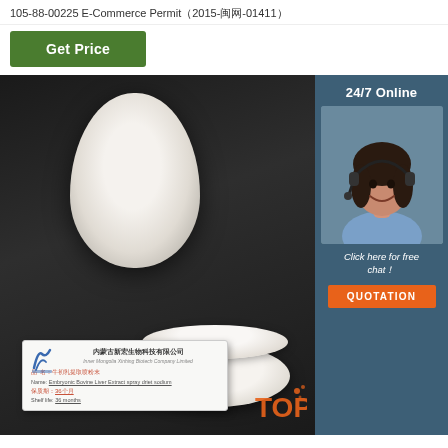105-88-00225 E-Commerce Permit（2015-闽网-01411）
Get Price
[Figure (photo): Product photo showing white powder in an egg-shaped mound and a petri dish with white powder, on a dark background, with a label card showing Inner Mongolia Xinbing Biotech Company Limited details, and a TOP badge in lower right corner.]
24/7 Online
[Figure (photo): Customer service agent (woman with headset) smiling, sidebar UI element]
Click here for free chat！
QUOTATION